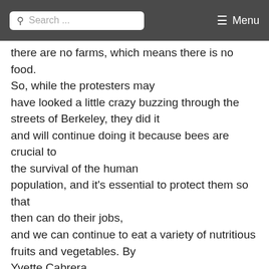Search ... Menu
there are no farms, which means there is no food. So, while the protesters may have looked a little crazy buzzing through the streets of Berkeley, they did it and will continue doing it because bees are crucial to the survival of the human population, and it's essential to protect them so that then can do their jobs, and we can continue to eat a variety of nutritious fruits and vegetables. By Yvette Cabrera
Coalition against BAYER Dangers (Germany)
www.CBGnetwork.org(in English)
CBGnetwork@aol.com